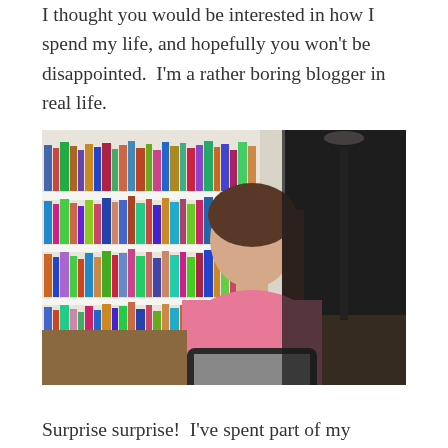I thought you would be interested in how I spend my life, and hopefully you won't be disappointed.  I'm a rather boring blogger in real life.
[Figure (photo): A teenage girl with brown hair in a pink sleeveless top, sitting on a couch using a MacBook laptop, with a large bookshelf filled with colorful books behind her and a floor lamp in the background.]
Surprise surprise!  I've spent part of my